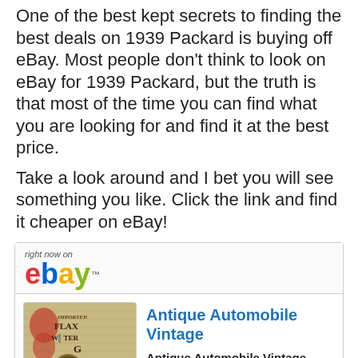One of the best kept secrets to finding the best deals on 1939 Packard is buying off eBay. Most people don't think to look on eBay for 1939 Packard, but the truth is that most of the time you can find what you are looking for and find it at the best price.
Take a look around and I bet you will see something you like. Click the link and find it cheaper on eBay!
[Figure (screenshot): eBay widget showing 'right now on eBay' header with eBay logo and a product listing for 'Antique Automobile Vintage' with an image of a vintage shifter knob on a burlap background, priced at 115.00]
Antique Automobile Vintage
Antique Automobile Vintage Original Shifter Auto Part
115.00